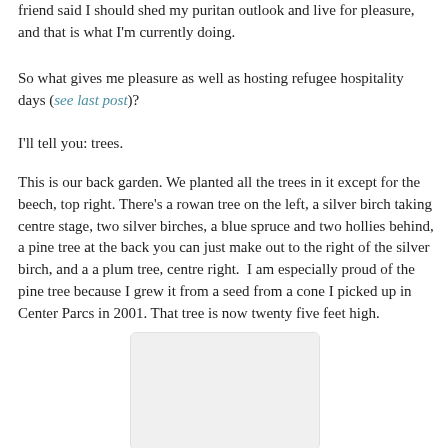friend said I should shed my puritan outlook and live for pleasure, and that is what I'm currently doing.
So what gives me pleasure as well as hosting refugee hospitality days (see last post)?
I'll tell you: trees.
This is our back garden. We planted all the trees in it except for the beech, top right. There's a rowan tree on the left, a silver birch taking centre stage, two silver birches, a blue spruce and two hollies behind, a pine tree at the back you can just make out to the right of the silver birch, and a a plum tree, centre right.  I am especially proud of the pine tree because I grew it from a seed from a cone I picked up in Center Parcs in 2001. That tree is now twenty five feet high.
[Figure (photo): A photograph of a back garden with multiple trees including a silver birch, rowan, blue spruce, hollies, pine tree and plum tree.]